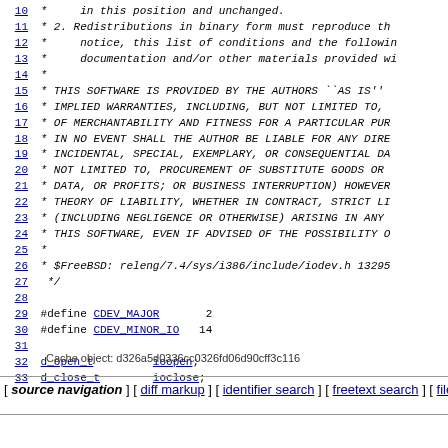10  *      in this position and unchanged.
11  * 2. Redistributions in binary form must reproduce th
12  *      notice, this list of conditions and the followin
13  *      documentation and/or other materials provided wi
14  *
15  * THIS SOFTWARE IS PROVIDED BY THE AUTHORS ``AS IS''
16  * IMPLIED WARRANTIES, INCLUDING, BUT NOT LIMITED TO,
17  * OF MERCHANTABILITY AND FITNESS FOR A PARTICULAR PUR
18  * IN NO EVENT SHALL THE AUTHOR BE LIABLE FOR ANY DIRE
19  * INCIDENTAL, SPECIAL, EXEMPLARY, OR CONSEQUENTIAL DA
20  * NOT LIMITED TO, PROCUREMENT OF SUBSTITUTE GOODS OR
21  * DATA, OR PROFITS; OR BUSINESS INTERRUPTION) HOWEVER
22  * THEORY OF LIABILITY, WHETHER IN CONTRACT, STRICT LI
23  * (INCLUDING NEGLIGENCE OR OTHERWISE) ARISING IN ANY
24  * THIS SOFTWARE, EVEN IF ADVISED OF THE POSSIBILITY O
25  *
26  * $FreeBSD: releng/7.4/sys/i386/include/iodev.h 13295
27  */
28
29 #define CDEV_MAJOR       2
30 #define CDEV_MINOR_IO   14
31
32 d_open_t         ioopen;
33 d_close_t        ioclose;
Cache object: d326a5d0336cc0326fd06d90cff3c116
[ source navigation ] [ diff markup ] [ identifier search ] [ freetext search ] [ file